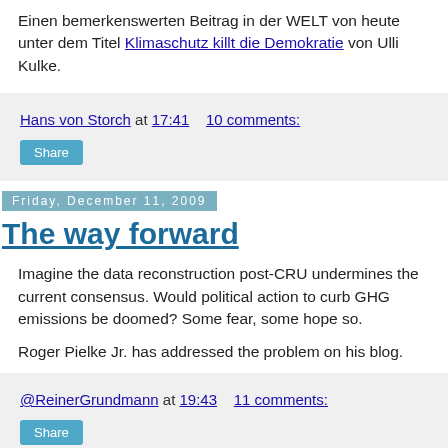Einen bemerkenswerten Beitrag in der WELT von heute unter dem Titel Klimaschutz killt die Demokratie von Ulli Kulke.
Hans von Storch at 17:41   10 comments:
Share
Friday, December 11, 2009
The way forward
Imagine the data reconstruction post-CRU undermines the current consensus. Would political action to curb GHG emissions be doomed? Some fear, some hope so.
Roger Pielke Jr. has addressed the problem on his blog.
@ReinerGrundmann at 19:43   11 comments:
Share